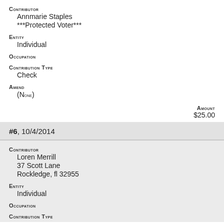Contributor
Annmarie Staples
***Protected Voter***
Entity
Individual
Occupation
Contribution Type
Check
Amend
(None)
Amount
$25.00
#6, 10/4/2014
Contributor
Loren Merrill
37 Scott Lane
Rockledge, fl 32955
Entity
Individual
Occupation
Contribution Type